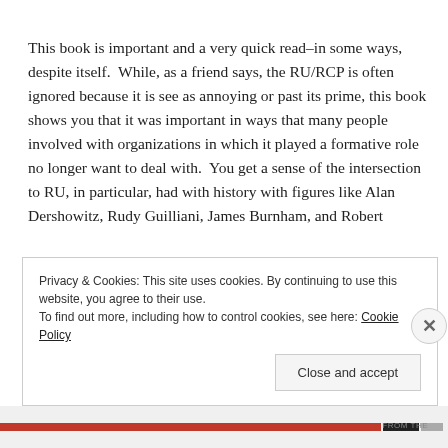This book is important and a very quick read–in some ways, despite itself.  While, as a friend says, the RU/RCP is often ignored because it is see as annoying or past its prime, this book shows you that it was important in ways that many people involved with organizations in which it played a formative role no longer want to deal with.  You get a sense of the intersection to RU, in particular, had with history with figures like Alan Dershowitz, Rudy Guilliani, James Burnham, and Robert
Privacy & Cookies: This site uses cookies. By continuing to use this website, you agree to their use.
To find out more, including how to control cookies, see here: Cookie Policy